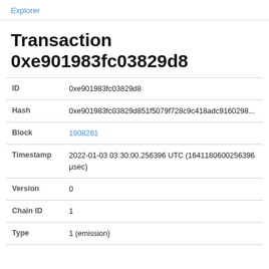Explorer
Transaction 0xe901983fc03829d8
| Field | Value |
| --- | --- |
| ID | 0xe901983fc03829d8 |
| Hash | 0xe901983fc03829d851f5079f728c9c418adc9160298... |
| Block | 1908281 |
| Timestamp | 2022-01-03 03:30:00.256396 UTC (1641180600256396 μsec) |
| Version | 0 |
| Chain ID | 1 |
| Type | 1 (emission) |